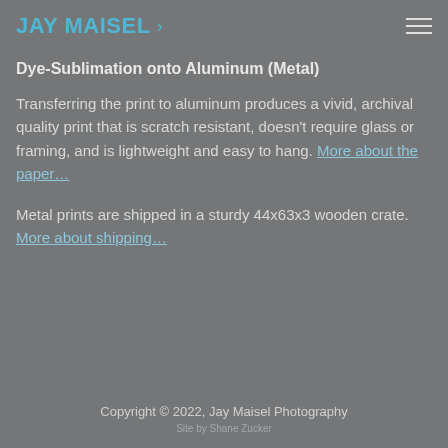JAY MAISEL ›
Dye-Sublimation onto Aluminum (Metal)
Transferring the print to aluminum produces a vivid, archival quality print that is scratch resistant, doesn't require glass or framing, and is lightweight and easy to hang. More about the paper...
Metal prints are shipped in a sturdy 44x63x3 wooden crate. More about shipping...
Copyright © 2022, Jay Maisel Photography
Site by Shane Zucker